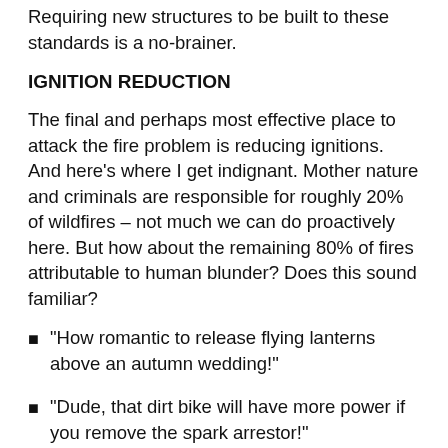Requiring new structures to be built to these standards is a no-brainer.
IGNITION REDUCTION
The final and perhaps most effective place to attack the fire problem is reducing ignitions. And here’s where I get indignant. Mother nature and criminals are responsible for roughly 20% of wildfires – not much we can do proactively here. But how about the remaining 80% of fires attributable to human blunder? Does this sound familiar?
“How romantic to release flying lanterns above an autumn wedding!”
“Dude, that dirt bike will have more power if you remove the spark arrestor!”
“We can’t possibly clear around all the powerlines we